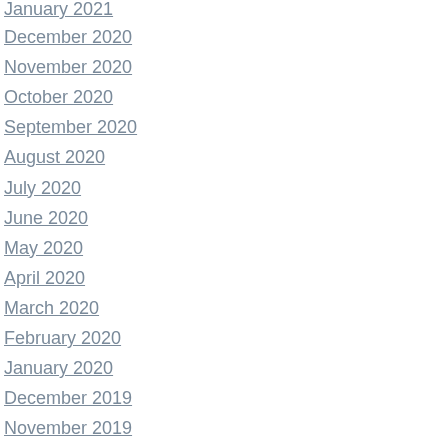January 2021
December 2020
November 2020
October 2020
September 2020
August 2020
July 2020
June 2020
May 2020
April 2020
March 2020
February 2020
January 2020
December 2019
November 2019
October 2019
September 2019
April 2018
April 2017